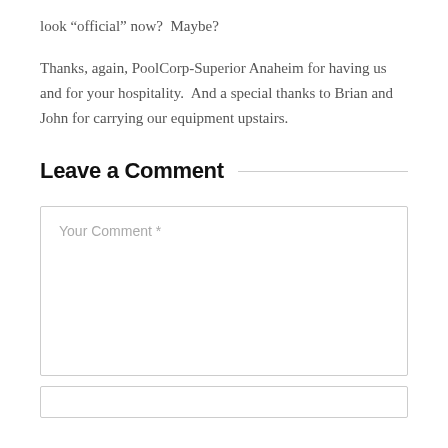look “official” now?  Maybe?
Thanks, again, PoolCorp-Superior Anaheim for having us and for your hospitality.  And a special thanks to Brian and John for carrying our equipment upstairs.
Leave a Comment